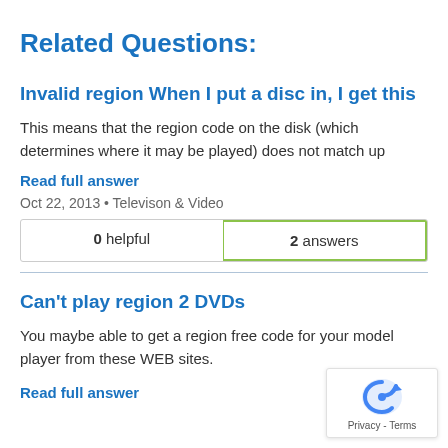Related Questions:
Invalid region When I put a disc in, I get this
This means that the region code on the disk (which determines where it may be played) does not match up
Read full answer
Oct 22, 2013 • Televison & Video
| 0 helpful | 2 answers |
| --- | --- |
Can't play region 2 DVDs
You maybe able to get a region free code for your model player from these WEB sites.
Read full answer